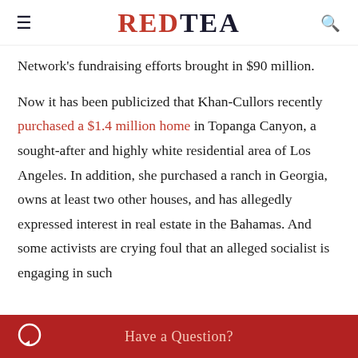RED TEA
Network's fundraising efforts brought in $90 million.

Now it has been publicized that Khan-Cullors recently purchased a $1.4 million home in Topanga Canyon, a sought-after and highly white residential area of Los Angeles. In addition, she purchased a ranch in Georgia, owns at least two other houses, and has allegedly expressed interest in real estate in the Bahamas. And some activists are crying foul that an alleged socialist is engaging in such
Have a Question?